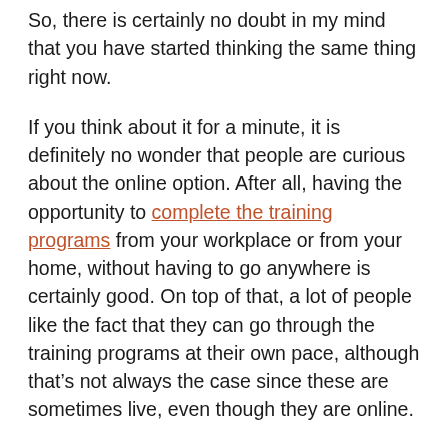So, there is certainly no doubt in my mind that you have started thinking the same thing right now.
If you think about it for a minute, it is definitely no wonder that people are curious about the online option. After all, having the opportunity to complete the training programs from your workplace or from your home, without having to go anywhere is certainly good. On top of that, a lot of people like the fact that they can go through the training programs at their own pace, although that’s not always the case since these are sometimes live, even though they are online.
Whatever the case may be, it is absolutely and